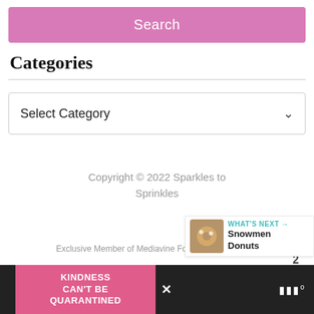Search
Categories
Select Category
Copyright © 2022 Sparkles to Sprinkles
Exclusive Member of Mediavine Food
[Figure (screenshot): What's Next panel with Snowmen Donuts thumbnail]
[Figure (infographic): Ad banner: KINDNESS CAN'T BE QUARANTINED on pink background with close button]